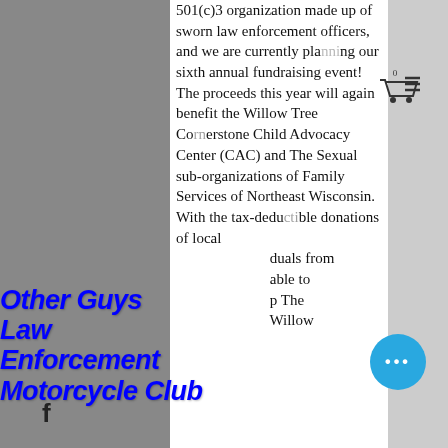501(c)3 organization made up of sworn law enforcement officers, and we are currently planning our sixth annual fundraising event! The proceeds this year will again benefit the Willow Tree Cornerstone Child Advocacy Center (CAC) and The Sexual sub-organizations of Family Services of Northeast Wisconsin. With the tax-deductible donations of local individuals from able to p The Willow rightfully used to staff, fund, and provide equipment to both of these amazing programs. The staff is specially trained to work together
Other Guys Law Enforcement Motorcycle Club
[Figure (logo): Black oval logo with skull and crossed bones graphic and 'LE' monogram box in white and black, for Other Guys Law Enforcement Motorcycle Club]